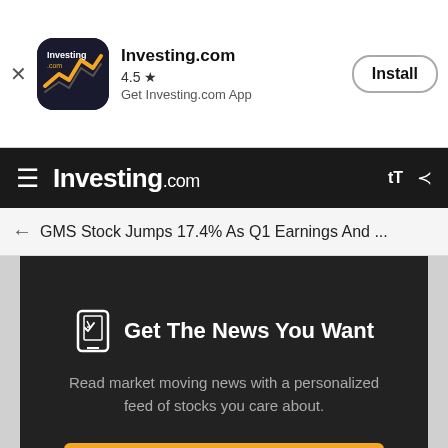[Figure (screenshot): Investing.com app install banner with app icon, rating 4.5 stars, and Install button]
Investing.com | 4.5 ★ | Get Investing.com App | Install
GMS Stock Jumps 17.4% As Q1 Earnings And ...
Get The News You Want
Read market moving news with a personalized feed of stocks you care about.
Get The App